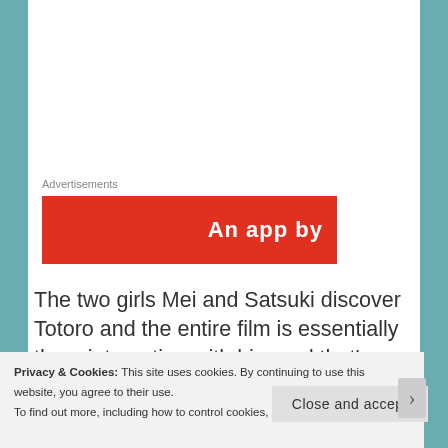Advertisements
[Figure (other): Red advertisement banner with white text reading 'An app by']
The two girls Mei and Satsuki discover Totoro and the entire film is essentially them interacting with him and that's what sort of makes it so good, Totoro is a very peculiar character as he seems very human he likes to take naps, he catches the bus (well a spirit bus, which also a cat) and in general he
Privacy & Cookies: This site uses cookies. By continuing to use this website, you agree to their use.
To find out more, including how to control cookies, see here: Cookie Policy
Close and accept